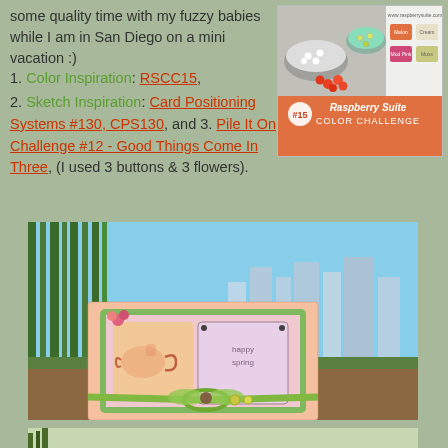some quality time with my fuzzy babies while I am in San Diego on a mini vacation :)
1. Color Inspiration: RSCC15,
2. Sketch Inspiration: Card Positioning Systems #130, CPS130, and 3. Pile It On Challenge #12 - Good Things Come In Three, (I used 3 buttons & 3 flowers).
[Figure (photo): Raspberry Suite Color Challenge #15 card showing buttons in bowls and color swatches]
[Figure (photo): Handmade card with teapot design, flowers, green ribbon bow, displayed against city skyline backdrop]
[Figure (photo): Partial view of another handmade card at bottom of page]